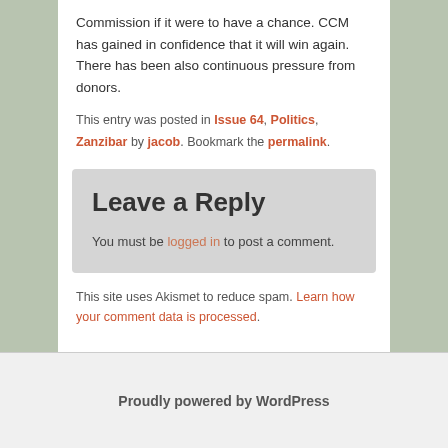Commission if it were to have a chance. CCM has gained in confidence that it will win again. There has been also continuous pressure from donors.
This entry was posted in Issue 64, Politics, Zanzibar by jacob. Bookmark the permalink.
Leave a Reply
You must be logged in to post a comment.
This site uses Akismet to reduce spam. Learn how your comment data is processed.
Proudly powered by WordPress